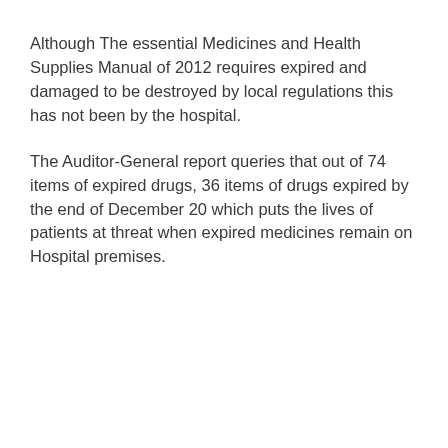Although The essential Medicines and Health Supplies Manual of 2012 requires expired and damaged to be destroyed by local regulations this has not been by the hospital.
The Auditor-General report queries that out of 74 items of expired drugs, 36 items of drugs expired by the end of December 20 which puts the lives of patients at threat when expired medicines remain on Hospital premises.